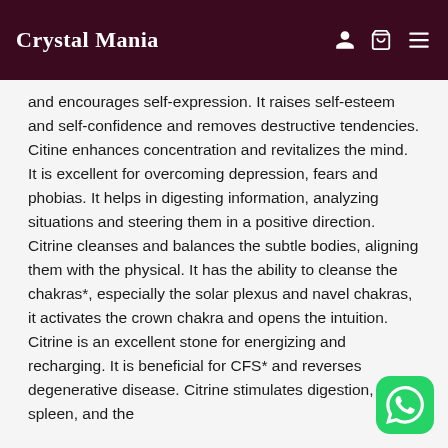Crystal Mania
and encourages self-expression. It raises self-esteem and self-confidence and removes destructive tendencies. Citine enhances concentration and revitalizes the mind. It is excellent for overcoming depression, fears and phobias. It helps in digesting information, analyzing situations and steering them in a positive direction. Citrine cleanses and balances the subtle bodies, aligning them with the physical. It has the ability to cleanse the chakras*, especially the solar plexus and navel chakras, it activates the crown chakra and opens the intuition. Citrine is an excellent stone for energizing and recharging. It is beneficial for CFS* and reverses degenerative disease. Citrine stimulates digestion, the spleen, and the